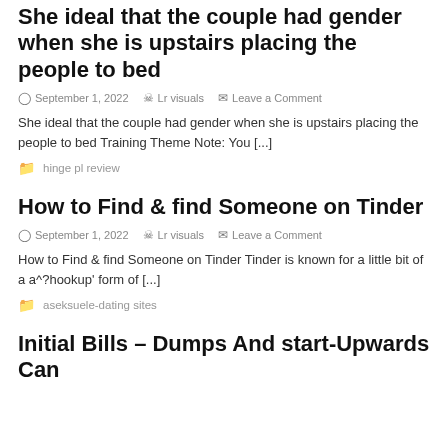She ideal that the couple had gender when she is upstairs placing the people to bed
September 1, 2022   Lr visuals   Leave a Comment
She ideal that the couple had gender when she is upstairs placing the people to bed Training Theme Note: You [...]
hinge pl review
How to Find & find Someone on Tinder
September 1, 2022   Lr visuals   Leave a Comment
How to Find & find Someone on Tinder Tinder is known for a little bit of a a^?hookup' form of [...]
aseksuele-dating sites
Initial Bills – Dumps And start-Upwards Can